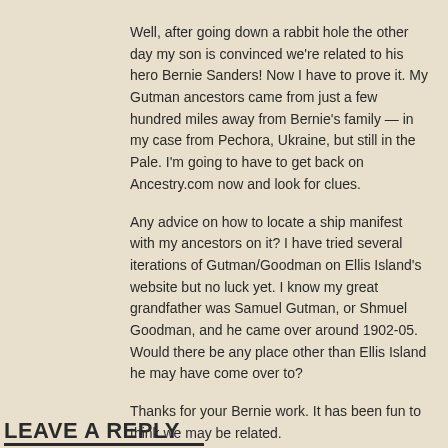Well, after going down a rabbit hole the other day my son is convinced we're related to his hero Bernie Sanders! Now I have to prove it. My Gutman ancestors came from just a few hundred miles away from Bernie's family — in my case from Pechora, Ukraine, but still in the Pale. I'm going to have to get back on Ancestry.com now and look for clues.
Any advice on how to locate a ship manifest with my ancestors on it? I have tried several iterations of Gutman/Goodman on Ellis Island's website but no luck yet. I know my great grandfather was Samuel Gutman, or Shmuel Goodman, and he came over around 1902-05. Would there be any place other than Ellis Island he may have come over to?
Thanks for your Bernie work. It has been fun to think we may be related.
↳ REPLY
LEAVE A REPLY